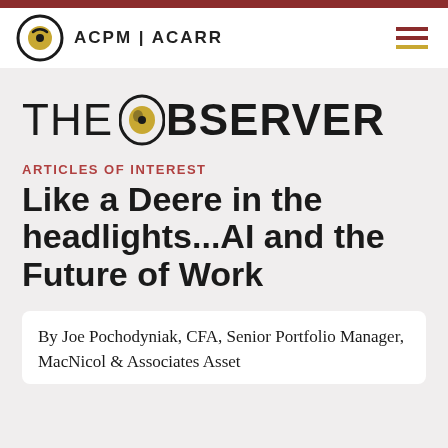ACPM | ACARR
THE OBSERVER
ARTICLES OF INTEREST
Like a Deere in the headlights...AI and the Future of Work
By Joe Pochodyniak, CFA, Senior Portfolio Manager, MacNicol & Associates Asset